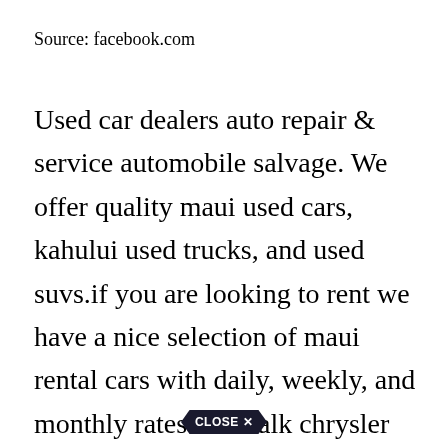Source: facebook.com
Used car dealers auto repair & service automobile salvage. We offer quality maui used cars, kahului used trucks, and used suvs.if you are looking to rent we have a nice selection of maui rental cars with daily, weekly, and monthly rates. Jim falk chrysler dodge jeep ram | view inventory 195 s. Enterprise gives you up to 7 days or 1,000 mile return policy, which can help ensure